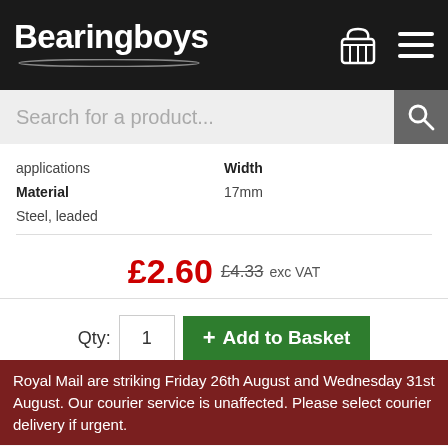Bearingboys
Search for a product...
| applications | Width |
| Material | 17mm |
| Steel, leaded |  |
£2.60  £4.33 exc VAT
Qty: 1  + Add to Basket
[Figure (photo): A steel leaded flange bush/bearing, cylindrical copper-toned body with dark grey flanged top, viewed at an angle.]
Royal Mail are striking Friday 26th August and Wednesday 31st August. Our courier service is unaffected. Please select courier delivery if urgent.